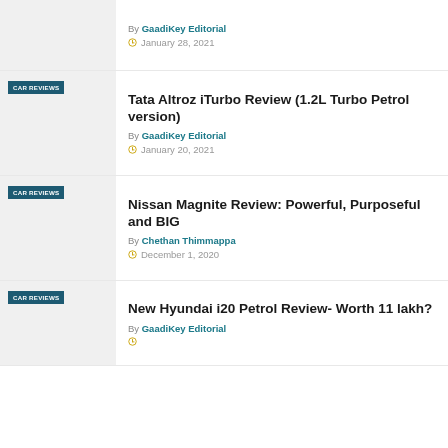By GaadiKey Editorial — January 28, 2021
Tata Altroz iTurbo Review (1.2L Turbo Petrol version)
By GaadiKey Editorial — January 20, 2021
Nissan Magnite Review: Powerful, Purposeful and BIG
By Chethan Thimmappa — December 1, 2020
New Hyundai i20 Petrol Review- Worth 11 lakh?
By GaadiKey Editorial